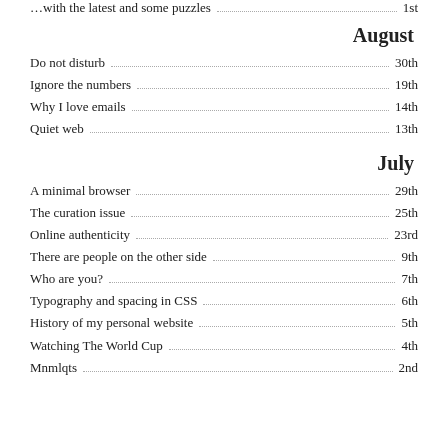… with the latest and some puzzles — 1st
August
Do not disturb — 30th
Ignore the numbers — 19th
Why I love emails — 14th
Quiet web — 13th
July
A minimal browser — 29th
The curation issue — 25th
Online authenticity — 23rd
There are people on the other side — 9th
Who are you? — 7th
Typography and spacing in CSS — 6th
History of my personal website — 5th
Watching The World Cup — 4th
Mnmlqts — 2nd